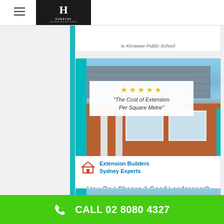Hometek - Extension Builders Sydney Experts
[Figure (screenshot): Partially visible blog post card with italic text about Kirrawee Public School]
[Figure (photo): Blog post card showing a brick building with roof tiles and white pillars. Overlay box with 5 stars and title 'The Cost of Extension Per Square Metre'. Brand bar showing Extension Builders Sydney Experts logo.]
How Do I Choose A Good Landscaper? Next Door to Kirrawee Public School
[Figure (photo): Partially visible blog post card showing roof tiles and sky]
CALL 02 8080 4327